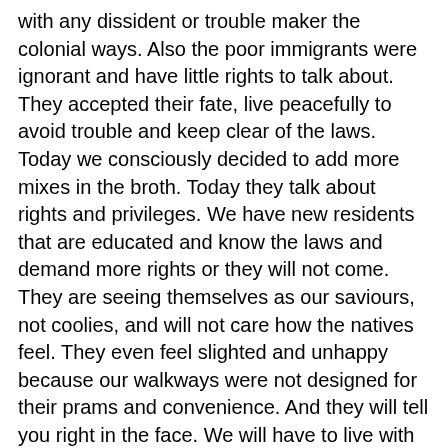with any dissident or trouble maker the colonial ways. Also the poor immigrants were ignorant and have little rights to talk about. They accepted their fate, live peacefully to avoid trouble and keep clear of the laws. Today we consciously decided to add more mixes in the broth. Today they talk about rights and privileges. We have new residents that are educated and know the laws and demand more rights or they will not come. They are seeing themselves as our saviours, not coolies, and will not care how the natives feel. They even feel slighted and unhappy because our walkways were not designed for their prams and convenience. And they will tell you right in the face. We will have to live with the consequences of all the new faces and residents and their demands on the meek natives. The meek shall not inherit paradise. Maybe we shall learn from New York and London on how they keep their foreigners quiet and not to cause trouble to the locals. They must know the way or else they will be plagued by all the spurious demands of the immigrants in their midst. Have we solve our foreigners versus natives problems, or they are just waiting for an opportunity to blow up? Shall we invite more foreigners to have more buzz in our lives? Don't worry, they have already